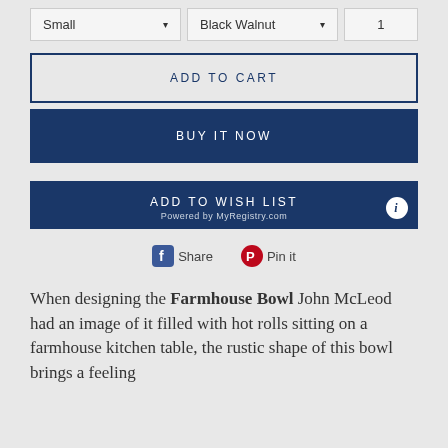[Figure (screenshot): Product option selectors: Small dropdown, Black Walnut dropdown, quantity 1]
ADD TO CART
BUY IT NOW
ADD TO WISH LIST
Powered by MyRegistry.com
Share   Pin it
When designing the Farmhouse Bowl John McLeod had an image of it filled with hot rolls sitting on a farmhouse kitchen table, the rustic shape of this bowl brings a feeling